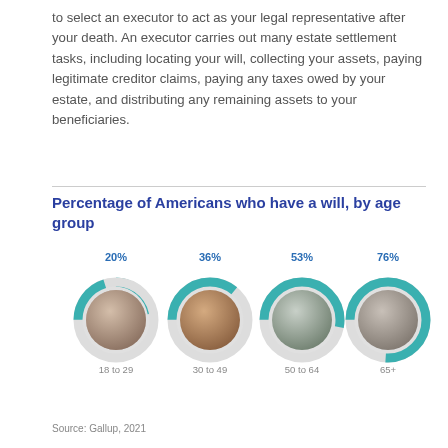to select an executor to act as your legal representative after your death. An executor carries out many estate settlement tasks, including locating your will, collecting your assets, paying legitimate creditor claims, paying any taxes owed by your estate, and distributing any remaining assets to your beneficiaries.
Percentage of Americans who have a will, by age group
[Figure (donut-chart): Percentage of Americans who have a will, by age group]
Source: Gallup, 2021